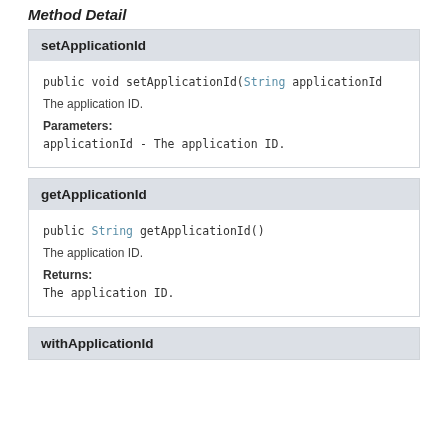Method Detail
setApplicationId
public void setApplicationId(String applicationId
The application ID.
Parameters:
applicationId - The application ID.
getApplicationId
public String getApplicationId()
The application ID.
Returns:
The application ID.
withApplicationId